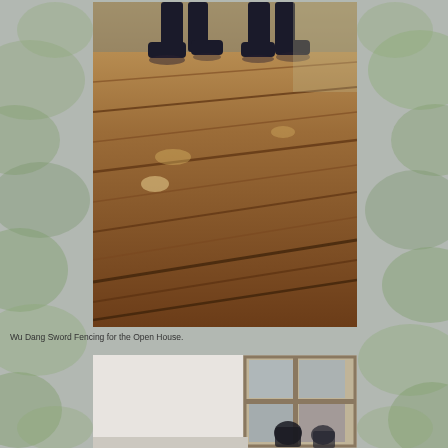[Figure (photo): Two people practicing Wu Dang sword fencing on a polished wooden floor. The photo is taken from a low angle showing legs and feet of two practitioners, with the reflective hardwood floor filling most of the frame.]
Wu Dang Sword Fencing for the Open House.
[Figure (photo): A person practicing martial arts inside a room with large windows divided into panes. The interior has white walls and brick accents visible around the window frame.]